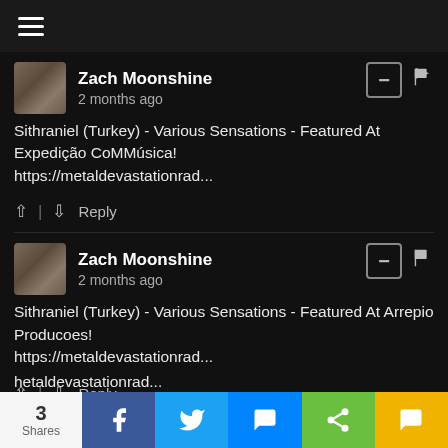Menu / navigation bar
Zach Moonshine
2 months ago
Sithraniel (Turkey) - Various Sensations - Featured At Expedição CoMMúsica!
https://metaldevastationrad...
Zach Moonshine
2 months ago
Sithraniel (Turkey) - Various Sensations - Featured At Arrepio Producoes!
https://metaldevastationrad...
Zach Moonshine
2 months ago
Sithraniel (Turkey) - Various Sensations - Featured At Pete's
...hetaldevastationrad...